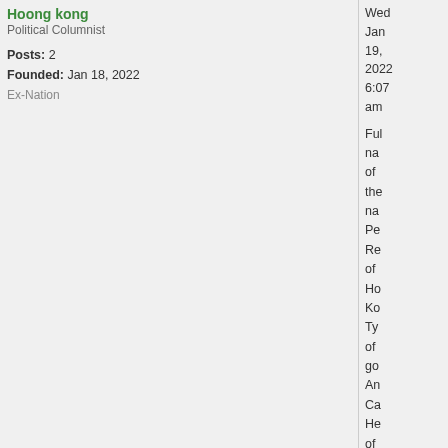Hoong kong
Political Columnist
Posts: 2
Founded: Jan 18, 2022
Ex-Nation
Wed Jan 19, 2022 6:07 am
Full name of the nation People Republic of Hong Ko Type of gov An Ca He of St Sa Me